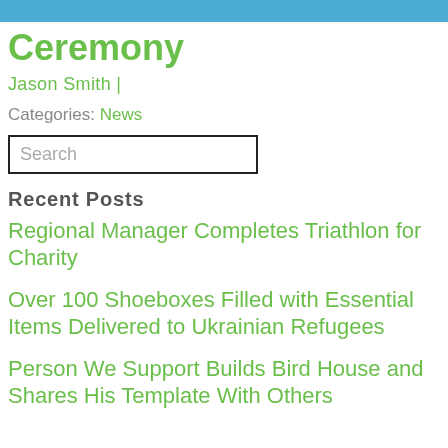Ceremony
Jason Smith |
Categories: News
Search
Recent Posts
Regional Manager Completes Triathlon for Charity
Over 100 Shoeboxes Filled with Essential Items Delivered to Ukrainian Refugees
Person We Support Builds Bird House and Shares His Template With Others